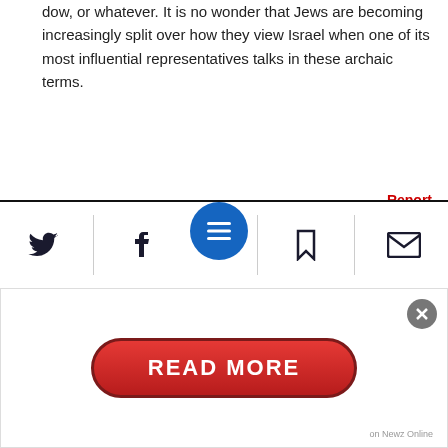dow, or whatever. It is no wonder that Jews are becoming increasingly split over how they view Israel when one of its most influential representatives talks in these archaic terms.
Report
17  CEE Observer  19:06 02.01.2018
0  0
"What a maroon...........!", as Bugs Bunny would put it
Report
16  steve gure  19:...01.2018
[Figure (screenshot): Bottom navigation toolbar with Twitter, Facebook, menu (blue circle), bookmark, and email icons]
[Figure (screenshot): READ MORE button overlay with close X button and 'on Newz Online' label]